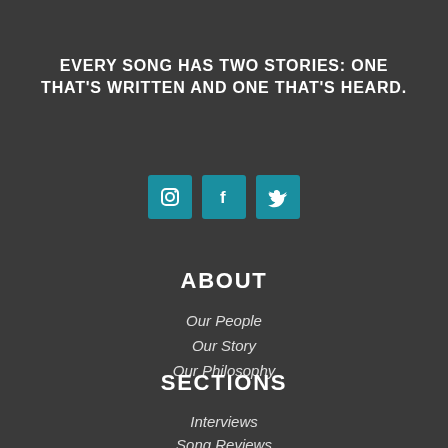EVERY SONG HAS TWO STORIES: ONE THAT'S WRITTEN AND ONE THAT'S HEARD.
[Figure (infographic): Three social media icon buttons: Instagram, Facebook, Twitter in teal/blue square buttons]
ABOUT
Our People
Our Story
Our Philosophy
SECTIONS
Interviews
Song Reviews
Music Promotion
Playlist